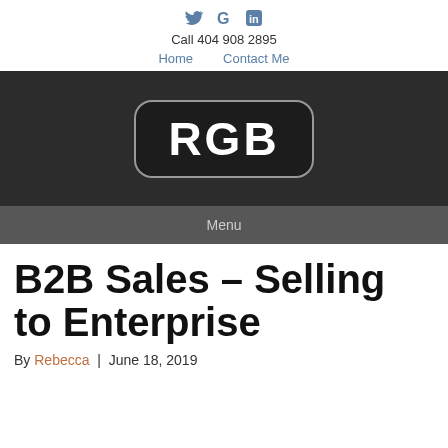Social icons: Twitter, Google, LinkedIn | Call 404 908 2895 | Home  Contact Me
[Figure (logo): RGB logo on dark background with menu bar below showing 'Menu']
B2B Sales – Selling to Enterprise
By Rebecca | June 18, 2019